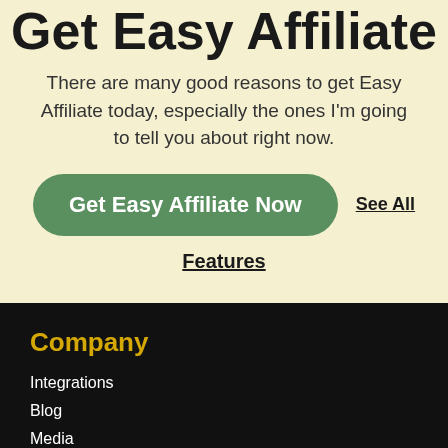Get Easy Affiliate
There are many good reasons to get Easy Affiliate today, especially the ones I'm going to tell you about right now.
Get Easy Affiliate Now
See All
Features
Company
Integrations
Blog
Media
Terms
Refunds
Privacy